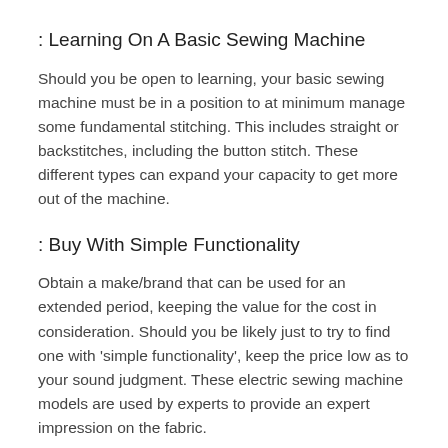: Learning On A Basic Sewing Machine
Should you be open to learning, your basic sewing machine must be in a position to at minimum manage some fundamental stitching. This includes straight or backstitches, including the button stitch. These different types can expand your capacity to get more out of the machine.
: Buy With Simple Functionality
Obtain a make/brand that can be used for an extended period, keeping the value for the cost in consideration. Should you be likely just to try to find one with 'simple functionality', keep the price low as to your sound judgment. These electric sewing machine models are used by experts to provide an expert impression on the fabric.